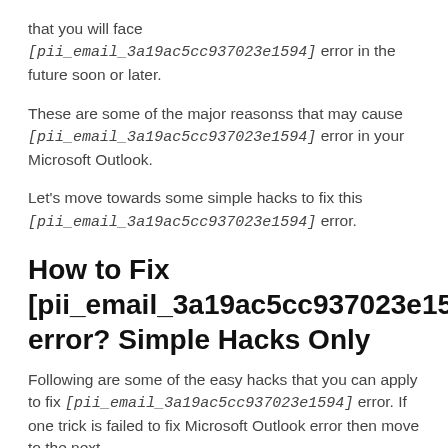that you will face [pii_email_3a19ac5cc937023e1594] error in the future soon or later.
These are some of the major reasonss that may cause [pii_email_3a19ac5cc937023e1594] error in your Microsoft Outlook.
Let's move towards some simple hacks to fix this [pii_email_3a19ac5cc937023e1594] error.
How to Fix [pii_email_3a19ac5cc937023e1594] error? Simple Hacks Only
Following are some of the easy hacks that you can apply to fix [pii_email_3a19ac5cc937023e1594] error. If one trick is failed to fix Microsoft Outlook error then move to the next.